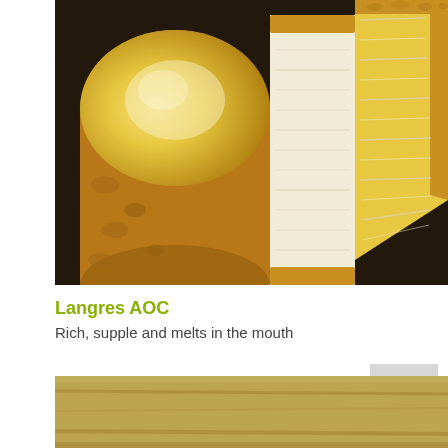[Figure (photo): Close-up photo of Langres AOC cheese — cylindrical wheel with orange-yellow rind and white/cream interior, sliced to show texture, on a dark surface]
Langres AOC
Rich, supple and melts in the mouth
£7.50 (180g)
[Figure (photo): Partial bottom photo of cheese or wooden board surface, cropped]